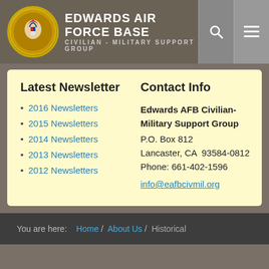EDWARDS AIR FORCE BASE CIVILIAN - MILITARY SUPPORT GROUP
Latest Newsletter
2016 Newsletters
2015 Newsletters
2014 Newsletters
2013 Newsletters
2012 Newsletters
Contact Info
Edwards AFB Civilian-Military Support Group
P.O. Box 812
Lancaster, CA  93584-0812
Phone: 661-402-1596
info@eafbcivmil.org
You are here:  Home /  About Us /  Historical